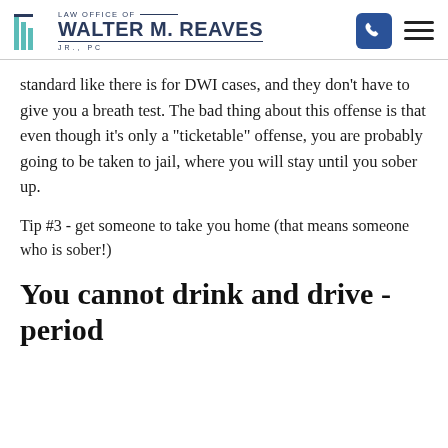LAW OFFICE OF WALTER M. REAVES JR., PC
standard like there is for DWI cases, and they don't have to give you a breath test. The bad thing about this offense is that even though it's only a "ticketable" offense, you are probably going to be taken to jail, where you will stay until you sober up.
Tip #3 - get someone to take you home (that means someone who is sober!)
You cannot drink and drive - period